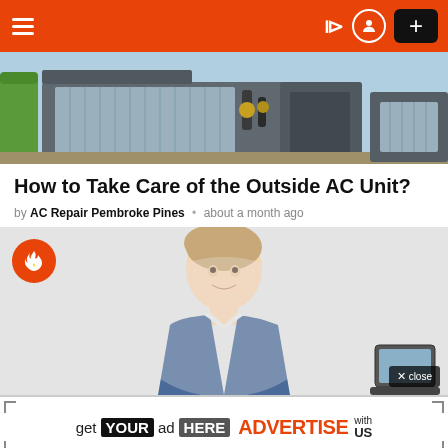Navigation bar with hamburger menu, moon icon, user icon, and plus button
[Figure (photo): Photo of outdoor AC unit equipment showing HVAC condenser and refrigerant lines]
How to Take Care of the Outside AC Unit?
by AC Repair Pembroke Pines • about a month ago
[Figure (photo): Trending image with orange fire badge icon showing a young smiling man in a blue shirt cut out against a light gray background, with a laptop partially visible at right. Close button at bottom right.]
[Figure (infographic): Advertisement banner: get YOUR ad HERE ADVERTISE with US]